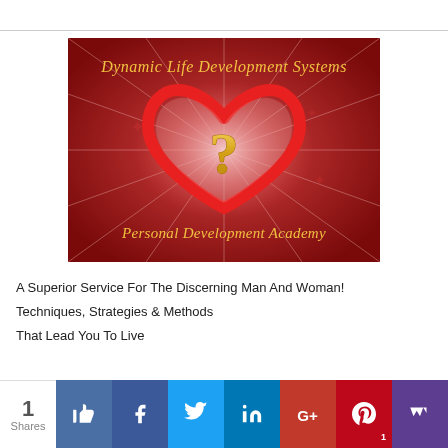[Figure (logo): Dynamic Life Development Systems Personal Development Academy logo — dark red background with radiating light beams, a red heart outline containing a golden question mark, gold italic script text reading 'Dynamic Life Development Systems' at top and 'Personal Development Academy' at bottom.]
A Superior Service For The Discerning Man And Woman!
Techniques, Strategies & Methods
That Lead You To Live